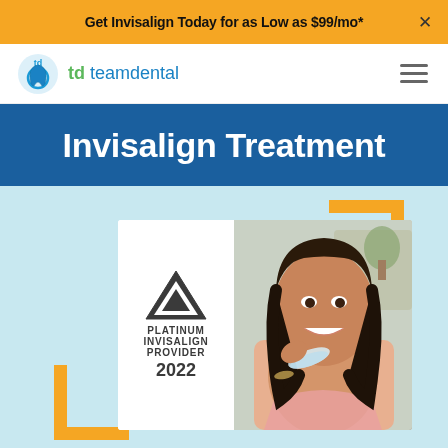Get Invisalign Today for as Low as $99/mo*
[Figure (logo): Team Dental logo with circular tooth icon and text 'teamdental']
Invisalign Treatment
[Figure (photo): Promotional composite image: left side shows Platinum Invisalign Provider 2022 badge with triangle logo; right side shows smiling woman holding an Invisalign aligner tray. Gold decorative corner brackets frame the image on a light blue background.]